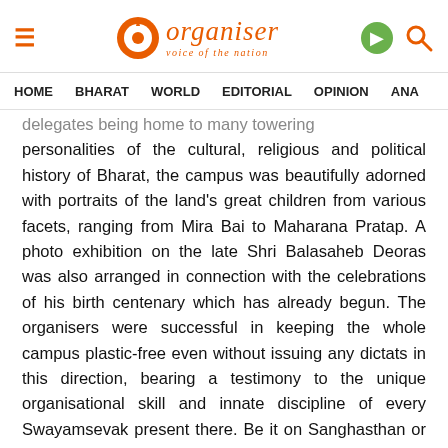Organiser – voice of the nation | HOME  BHARAT  WORLD  EDITORIAL  OPINION  ANA…
delegates being home to many towering personalities of the cultural, religious and political history of Bharat, the campus was beautifully adorned with portraits of the land's great children from various facets, ranging from Mira Bai to Maharana Pratap. A photo exhibition on the late Shri Balasaheb Deoras was also arranged in connection with the celebrations of his birth centenary which has already begun. The organisers were successful in keeping the whole campus plastic-free even without issuing any dictats in this direction, bearing a testimony to the unique organisational skill and innate discipline of every Swayamsevak present there. Be it on Sanghasthan or in dining hall or in